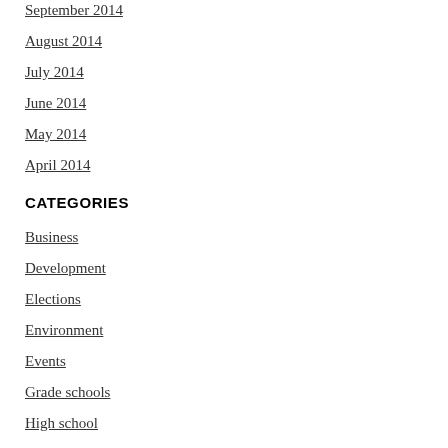September 2014
August 2014
July 2014
June 2014
May 2014
April 2014
CATEGORIES
Business
Development
Elections
Environment
Events
Grade schools
High school
History
Housing